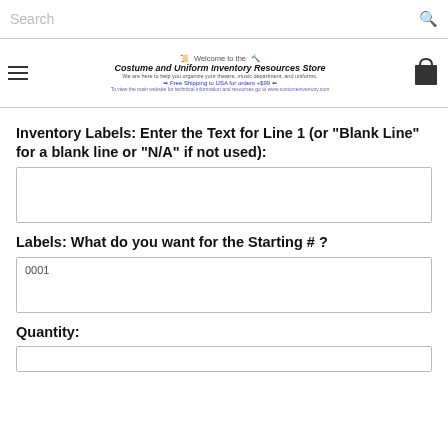Search
Welcome to the Costume and Uniform Inventory Resources Store. We are here to help you organize your theatre, music department, and uniforms. Free Shipping to USA for orders +$99
Inventory Labels: Enter the Text for Line 1 (or "Blank Line" for a blank line or "N/A" if not used):
(text input field)
Labels: What do you want for the Starting # ?
0001
Quantity:
(text input field)